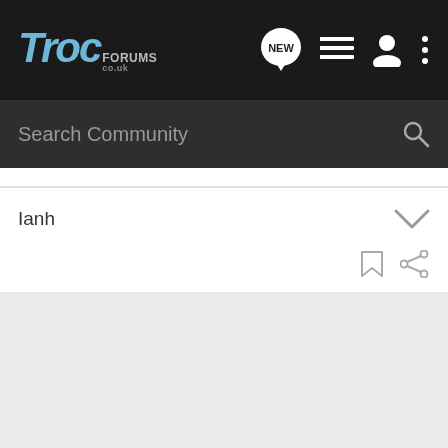[Figure (screenshot): TROC Forums navigation bar with logo, NEW posts button, list icon, user icon, and more options icon]
Search Community
Ianh